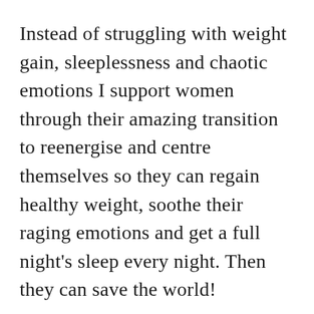Instead of struggling with weight gain, sleeplessness and chaotic emotions I support women through their amazing transition to reenergise and centre themselves so they can regain healthy weight, soothe their raging emotions and get a full night's sleep every night. Then they can save the world!